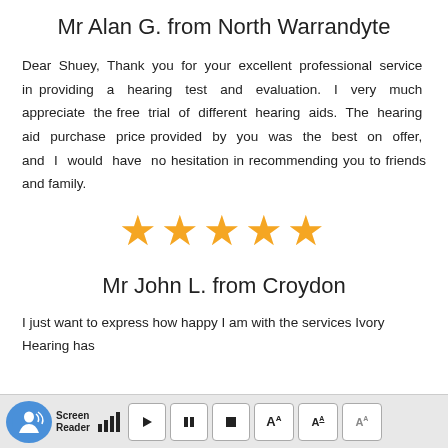Mr Alan G. from North Warrandyte
Dear Shuey, Thank you for your excellent professional service in providing a hearing test and evaluation. I very much appreciate the free trial of different hearing aids. The hearing aid purchase price provided by you was the best on offer, and I would have no hesitation in recommending you to friends and family.
[Figure (other): Five orange star rating icons indicating a 5-star review]
Mr John L. from Croydon
I just want to express how happy I am with the services Ivory Hearing has
[Figure (screenshot): Screen reader toolbar overlay at the bottom of the page with play, pause, stop controls and text size buttons]